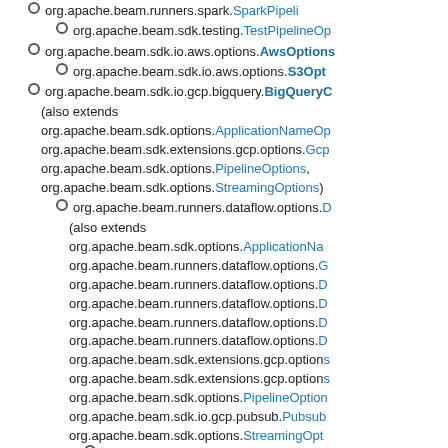org.apache.beam.runners.spark.SparkPipel...
org.apache.beam.sdk.testing.TestPipelineOp...
org.apache.beam.sdk.io.aws.options.AwsOptions...
org.apache.beam.sdk.io.aws.options.S3Opt...
org.apache.beam.sdk.io.gcp.bigquery.BigQueryC... (also extends org.apache.beam.sdk.options.ApplicationNameOp... org.apache.beam.sdk.extensions.gcp.options.Gcp... org.apache.beam.sdk.options.PipelineOptions, org.apache.beam.sdk.options.StreamingOptions)
org.apache.beam.runners.dataflow.options.D... (also extends org.apache.beam.sdk.options.ApplicationNa... org.apache.beam.runners.dataflow.options.G... org.apache.beam.runners.dataflow.options.D... org.apache.beam.runners.dataflow.options.D... org.apache.beam.runners.dataflow.options.D... org.apache.beam.runners.dataflow.options.D... org.apache.beam.sdk.extensions.gcp.option... org.apache.beam.sdk.extensions.gcp.option... org.apache.beam.sdk.options.PipelineOption... org.apache.beam.sdk.io.gcp.pubsub.Pubsub... org.apache.beam.sdk.options.StreamingOpt...)
org.apache.beam.runners.dataflow.op...
org.apache.beam.runners.dataflow.Te... (also extends org.apache.beam.sdk.testing.TestPipe...)
org.apache.beam.runners.dataflow.options....